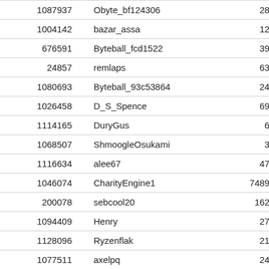| 1087937 | Obyte_bf124306 | 28929914 | 144… |
| 1004142 | bazar_assa | 12815280 | 143… |
| 676591 | Byteball_fcd1522 | 39739263 | 142… |
| 24857 | remlaps | 63341456 | 141… |
| 1080693 | Byteball_93c53864 | 24878972 | 140… |
| 1026458 | D_S_Spence | 69952491 | 137… |
| 1114165 | DuryGus | 6696547 | 137… |
| 1068507 | ShmoogleOsukami | 3153791 | 137… |
| 1116634 | alee67 | 47019772 | 134… |
| 1046074 | CharityEngine1 | 7489446138 | 128… |
| 200078 | sebcool20 | 162478763 | 127… |
| 1094409 | Henry | 27895559 | 125… |
| 1128096 | Ryzenflak | 21761751 | 118… |
| 1077511 | axelpq | 24959932 | 117… |
| 1079158 | HoWnixT | 110136155 | 116… |
| 722361 | Mario Alberto Lopez | 131201783 | 114… |